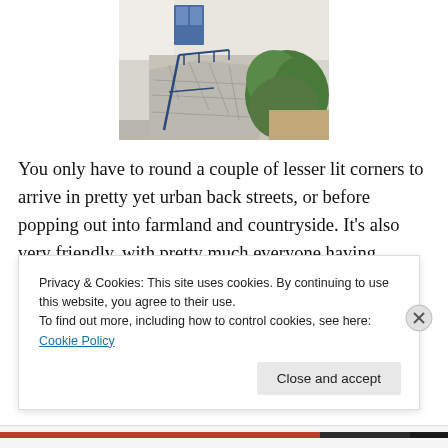[Figure (photo): Aerial or overhead view of whitewashed Greek island steps/walkway with blue railings, stone paving, and green shrubs]
You only have to round a couple of lesser lit corners to arrive in pretty yet urban back streets, or before popping out into farmland and countryside. It’s also very friendly, with pretty much everyone having enough English for you to get by. Lazy? Sure, but I already know two languages (English and online game nerd) and I can’t
Privacy & Cookies: This site uses cookies. By continuing to use this website, you agree to their use.
To find out more, including how to control cookies, see here: Cookie Policy
Close and accept